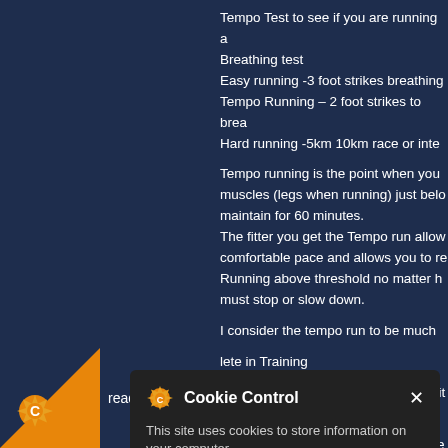Tempo Test to see if you are running a
Breathing test
Easy running -3 foot strikes breathing
Tempo Running – 2 foot strikes to brea
Hard running -5km 10km race or inte
Tempo running is the point when you muscles (legs when running) just belo maintain for 60 minutes.
The fitter you get the Tempo run allow comfortable pace and allows you to re Running above threshold no matter h must stop or slow down.
I consider the tempo run to be much
lete in Training
Trans – ansition area - TT = Transit athlon or Tri bars - UT = Up
TRASHED – an athlete that has pace has performed to the best of their abi
[Figure (screenshot): Cookie Control popup overlay with gear icon, close button, message 'This site uses cookies to store information on your computer.', green 'I am happy with this' button, and 'About this tool' link]
read more